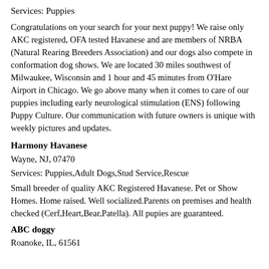Services: Puppies
Congratulations on your search for your next puppy! We raise only AKC registered, OFA tested Havanese and are members of NRBA (Natural Rearing Breeders Association) and our dogs also compete in conformation dog shows. We are located 30 miles southwest of Milwaukee, Wisconsin and 1 hour and 45 minutes from O'Hare Airport in Chicago. We go above many when it comes to care of our puppies including early neurological stimulation (ENS) following Puppy Culture. Our communication with future owners is unique with weekly pictures and updates.
Harmony Havanese
Wayne, NJ, 07470
Services: Puppies,Adult Dogs,Stud Service,Rescue
Small breeder of quality AKC Registered Havanese. Pet or Show Homes. Home raised. Well socialized.Parents on premises and health checked (Cerf,Heart,Bear,Patella). All pupies are guaranteed.
ABC doggy
Roanoke, IL, 61561